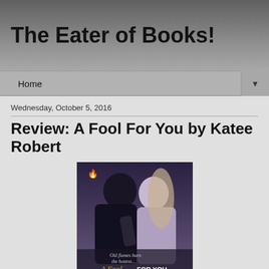The Eater of Books!
Home ▼
Wednesday, October 5, 2016
Review: A Fool For You by Katee Robert
[Figure (photo): Book cover of 'A Fool For You' by Katee Robert showing a couple almost kissing in black and white with the text 'Old flames burn the hottest...' and the title in gold script at the bottom.]